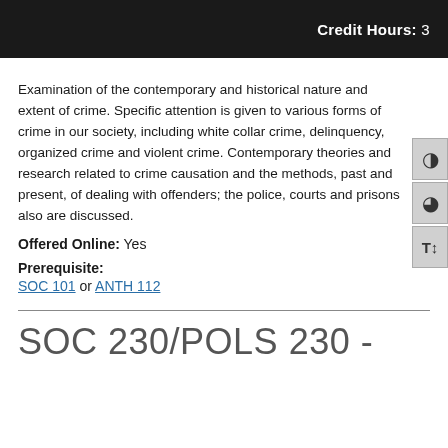Credit Hours: 3
Examination of the contemporary and historical nature and extent of crime. Specific attention is given to various forms of crime in our society, including white collar crime, delinquency, organized crime and violent crime. Contemporary theories and research related to crime causation and the methods, past and present, of dealing with offenders; the police, courts and prisons also are discussed.
Offered Online: Yes
Prerequisite: SOC 101 or ANTH 112
SOC 230/POLS 230 -